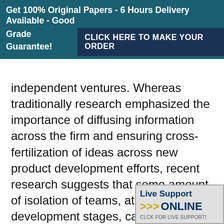Get 100% Original Papers - 6 Hours Delivery Available - Good Grade Guarantee! CLICK HERE TO MAKE YOUR ORDER
independent ventures. Whereas traditionally research emphasized the importance of diffusing information across the firm and ensuring cross-fertilization of ideas across new product development efforts, recent research suggests that some amount of isolation of teams, at least in early development stages, can be valuable. When multiple Chapter 10 Organizing for Innovation Skunk Works® Skunk Works® is a term that originated with a division of Lockheed Martin that was formed in June of 1943 to quickly develop a jet fighter for the United Army. It has evolved as skunk wo
[Figure (infographic): Live Support ONLINE badge in bottom-right corner with yellow arrows and blue text, subtitle CLCK FOR LIVE SUPPORT!]